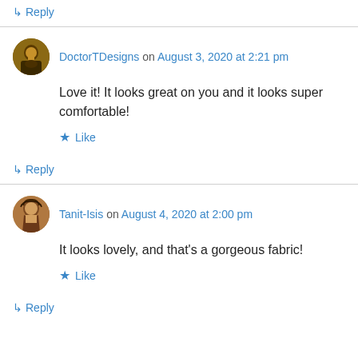↳ Reply
DoctorTDesigns on August 3, 2020 at 2:21 pm
Love it! It looks great on you and it looks super comfortable!
Like
↳ Reply
Tanit-Isis on August 4, 2020 at 2:00 pm
It looks lovely, and that's a gorgeous fabric!
Like
↳ Reply